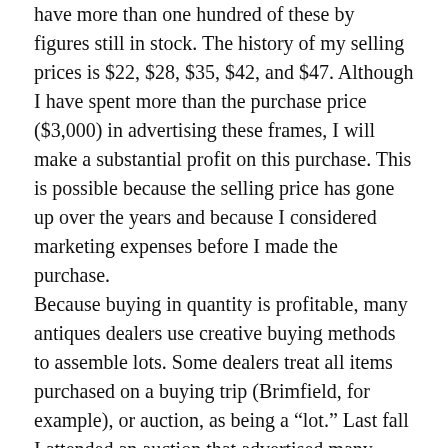have more than one hundred of these by figures still in stock. The history of my selling prices is $22, $28, $35, $42, and $47. Although I have spent more than the purchase price ($3,000) in advertising these frames, I will make a substantial profit on this purchase. This is possible because the selling price has gone up over the years and because I considered marketing expenses before I made the purchase. Because buying in quantity is profitable, many antiques dealers use creative buying methods to assemble lots. Some dealers treat all items purchased on a buying trip (Brimfield, for example), or auction, as being a “lot.” Last fall I attended an auction that advertised many medical and related antiques. The first medical item to come up for sale was a rare medical container. I knew with certainty that I could resell this item for $1,200. My “stop-bid price,” noted in my catalog, was $600. The auctioneer tried to open the bidding at $200, lowered the asking price to $100, $50, and finally to $25. I bid the $25 and won; bid price intact...